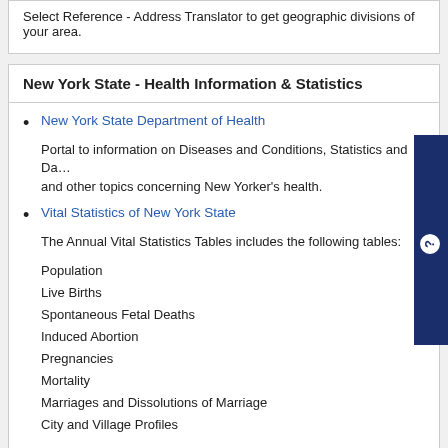Select Reference - Address Translator to get geographic divisions of your area.
New York State - Health Information & Statistics
New York State Department of Health
Portal to information on Diseases and Conditions, Statistics and Data, and other topics concerning New Yorker's health.
Vital Statistics of New York State
The Annual Vital Statistics Tables includes the following tables:
Population
Live Births
Spontaneous Fetal Deaths
Induced Abortion
Pregnancies
Mortality
Marriages and Dissolutions of Marriage
City and Village Profiles